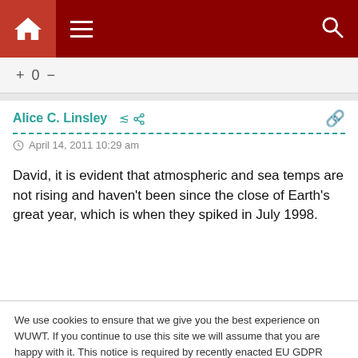WUWT website navigation bar with home, menu, and search icons
+ 0 −
Alice C. Linsley
April 14, 2011 10:29 am
David, it is evident that atmospheric and sea temps are not rising and haven't been since the close of Earth's great year, which is when they spiked in July 1998.
We use cookies to ensure that we give you the best experience on WUWT. If you continue to use this site we will assume that you are happy with it. This notice is required by recently enacted EU GDPR rules, and since WUWT is a globally read website, we need to keep the bureaucrats off our case! Cookie Policy
Close and accept
Maybe, maybe not. I'm still waiting for anyone of the